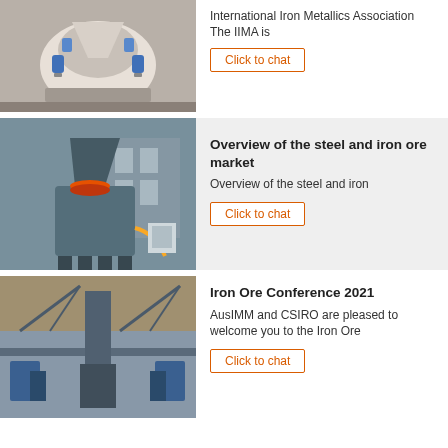[Figure (photo): Industrial cone crusher machine with blue hydraulic fittings and white body in a workshop setting (partial top view)]
International Iron Metallics Association The IIMA is
Click to chat
[Figure (photo): Industrial vertical cone crusher machine with orange ring detail, mounted on a grey frame in a factory building]
Overview of the steel and iron ore market
Overview of the steel and iron
Click to chat
[Figure (photo): Large open-pit iron ore mining conveyor and processing facility with blue equipment and aerial conveyor structures]
Iron Ore Conference 2021
AusIMM and CSIRO are pleased to welcome you to the Iron Ore
Click to chat